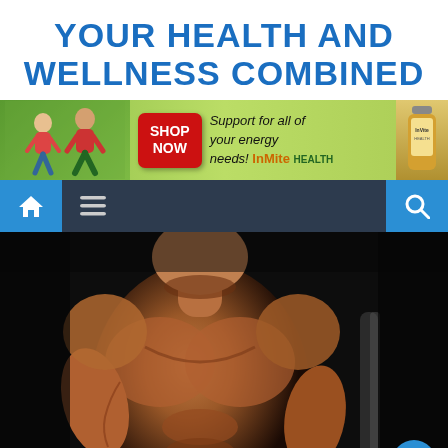YOUR HEALTH AND WELLNESS COMBINED
[Figure (photo): Advertising banner for InVite Health showing two people jogging outdoors, a red Shop Now button, and text 'Support for all of your energy needs! InVite HEALTH' with a supplement bottle on green background]
[Figure (screenshot): Navigation bar with home icon (blue), hamburger menu icon, and search icon (blue) on dark background]
[Figure (photo): Muscular shirtless man lifting a barbell in a dark gym, photographed from chest up]